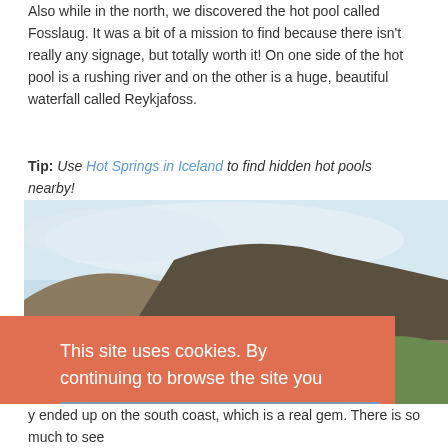Also while in the north, we discovered the hot pool called Fosslaug. It was a bit of a mission to find because there isn't really any signage, but totally worth it! On one side of the hot pool is a rushing river and on the other is a huge, beautiful waterfall called Reykjafoss.
Tip: Use Hot Springs in Iceland to find hidden hot pools nearby!
[Figure (photo): Outdoor landscape photo showing a hot pool near a rushing river with hills and a waterfall in the background. People can be seen at the edge of the pool.]
This site uses cookies. By continuing to browse the site you are agreeing to our use of cookies.
Review our cookie information for more details
Got it!
y ended up on the south coast, which is a real gem. There is so much to see